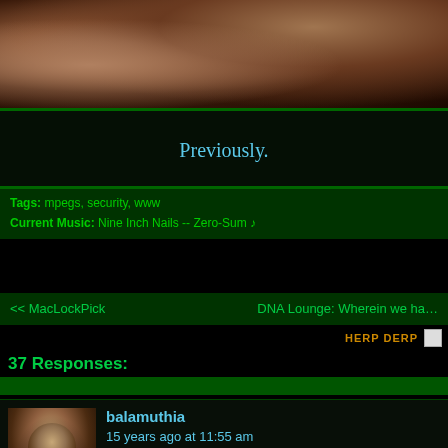[Figure (photo): Close-up blurry photo of a person, warm brown tones, dark background]
Previously.
Tags: mpegs, security, www
Current Music: Nine Inch Nails -- Zero-Sum ♪
<< MacLockPick    DNA Lounge: Wherein we ha…
HERP DERP
37 Responses:
balamuthia
15 years ago at 11:55 am
I think the greatest symptom of the "webcam" addicition is that people sta…